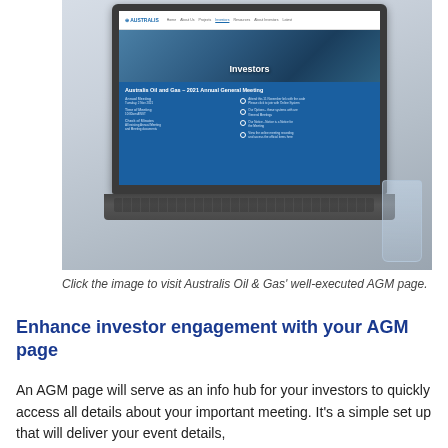[Figure (photo): A person typing on a laptop whose screen shows the Australis Oil & Gas investor AGM webpage, with another person holding a phone in the background.]
Click the image to visit Australis Oil & Gas' well-executed AGM page.
Enhance investor engagement with your AGM page
An AGM page will serve as an info hub for your investors to quickly access all details about your important meeting. It's a simple set up that will deliver your event details,